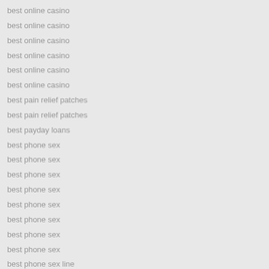best online casino
best online casino
best online casino
best online casino
best online casino
best online casino
best pain relief patches
best pain relief patches
best payday loans
best phone sex
best phone sex
best phone sex
best phone sex
best phone sex
best phone sex
best phone sex
best phone sex
best phone sex line
best phone sex line